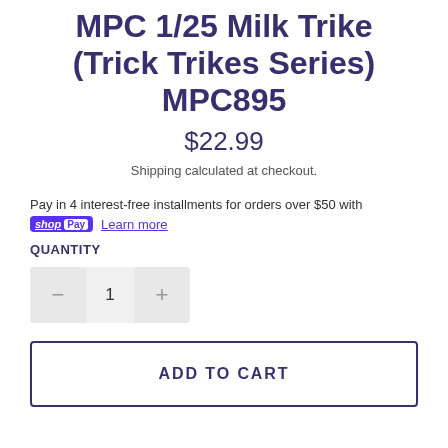MPC 1/25 Milk Trike (Trick Trikes Series) MPC895
$22.99
Shipping calculated at checkout.
Pay in 4 interest-free installments for orders over $50 with shop Pay Learn more
QUANTITY
1
ADD TO CART